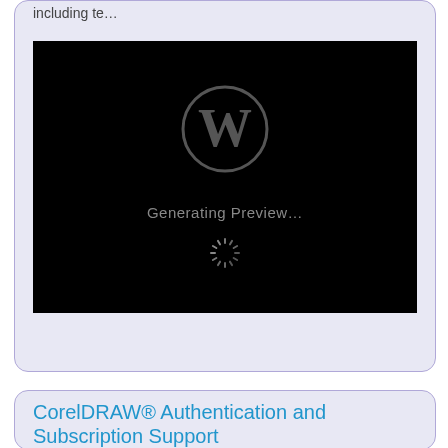including te...
[Figure (screenshot): Black video preview area showing a grey WordPress logo (W in a circle), text 'Generating Preview...' and a loading spinner icon below it.]
CorelDRAW® Authentication and Subscription Support